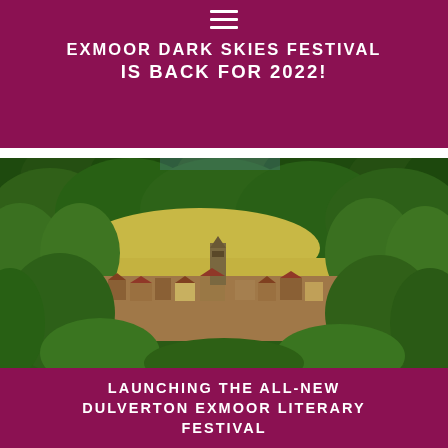EXMOOR DARK SKIES FESTIVAL IS BACK FOR 2022!
[Figure (photo): Aerial view of Dulverton village nestled among dense green trees and wooded hillside on Exmoor, with a church tower visible among the stone buildings]
LAUNCHING THE ALL-NEW DULVERTON EXMOOR LITERARY FESTIVAL